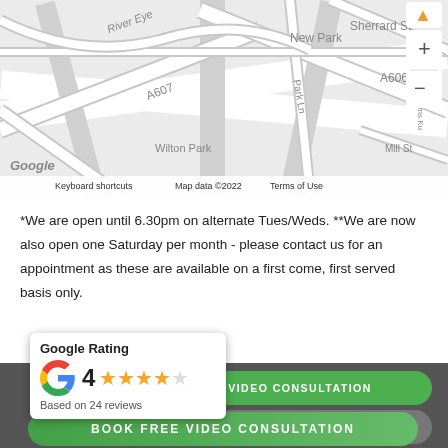[Figure (map): Google Maps screenshot showing area around Melton Mowbray including A607, A606, New Park, Wilton Park, Sherrard St, Park Ln, Mill St roads with zoom controls and Google attribution]
*We are open until 6.30pm on alternate Tues/Weds. **We are now also open one Saturday per month - please contact us for an appointment as these are available on a first come, first served basis only.
[Figure (infographic): Google Rating card showing rating of 4 stars out of 5, based on 24 reviews, with Google G logo. Green pill buttons for VIDEO CONSULTATION and GO CARDLESS. BOOK FREE VIDEO CONSULTATION green button at bottom.]